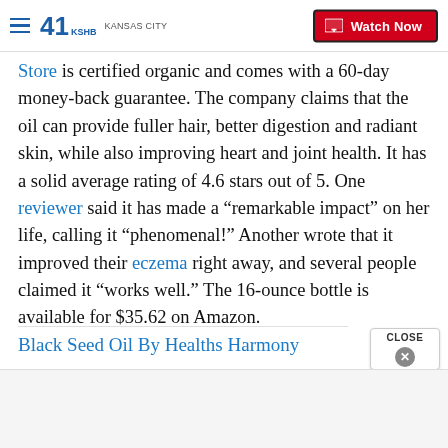41 KSHB KANSAS CITY | Watch Now
Store is certified organic and comes with a 60-day money-back guarantee. The company claims that the oil can provide fuller hair, better digestion and radiant skin, while also improving heart and joint health. It has a solid average rating of 4.6 stars out of 5. One reviewer said it has made a “remarkable impact” on her life, calling it “phenomenal!” Another wrote that it improved their eczema right away, and several people claimed it “works well.” The 16-ounce bottle is available for $35.62 on Amazon.
Black Seed Oil By Healths Harmony